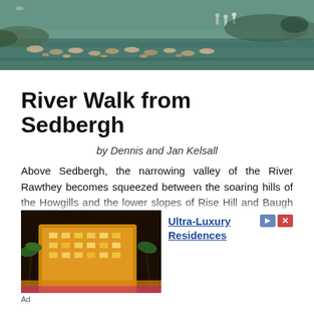[Figure (photo): Aerial/landscape photo of a river with stepping stones and people crossing the water, surrounded by greenery]
River Walk from Sedbergh
by Dennis and Jan Kelsall
Above Sedbergh, the narrowing valley of the River Rawthey becomes squeezed between the soaring hills of the Howgills and the lower slopes of Rise Hill and Baugh Fell. This undemanding ramble begins across the lower slopes past the castle that oversaw the town's early development, and returns beside the
[Figure (photo): Advertisement photo showing an illuminated luxury hotel or resort building at night with palm trees]
Ad